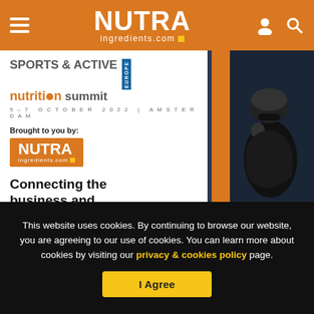NUTRAingredients.com
[Figure (screenshot): Sports & Active Nutrition Summit Europe banner with cyclist image, 5-7 October 2022 Amsterdam, brought to you by NUTRAingredients.com, text 'Connecting the business and']
This website uses cookies. By continuing to browse our website, you are agreeing to our use of cookies. You can learn more about cookies by visiting our privacy & cookies policy page.
I Agree